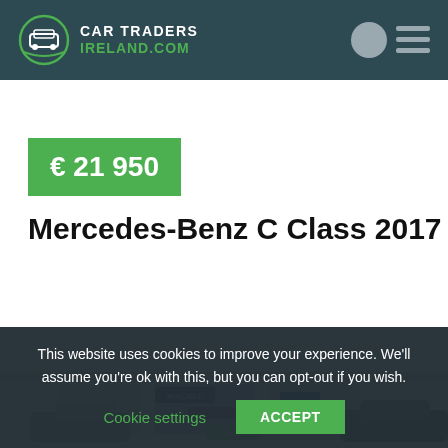CAR TRADERS IRELAND.COM
€ 21 950
Mercedes-Benz C Class 2017
[Figure (photo): Car dealership exterior showing cars available]
This website uses cookies to improve your experience. We'll assume you're ok with this, but you can opt-out if you wish. Cookie settings ACCEPT